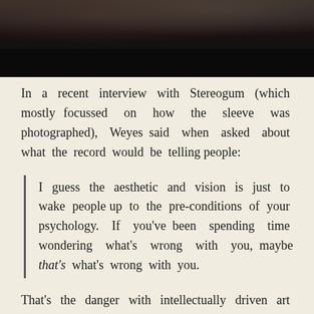[Figure (photo): Dark toned photograph, mostly black, with faint warm-toned shadows visible at top portion.]
In a recent interview with Stereogum (which mostly focussed on how the sleeve was photographed), Weyes said when asked about what the record would be telling people:
I guess the aesthetic and vision is just to wake people up to the pre-conditions of your psychology. If you've been spending time wondering what's wrong with you, maybe that's what's wrong with you.
That's the danger with intellectually driven art rock. The idea and the execution can end up being a little dry if there isn't a sense of humour involved that is inclusive. Take Everyday below. The video's set in a classic 70s